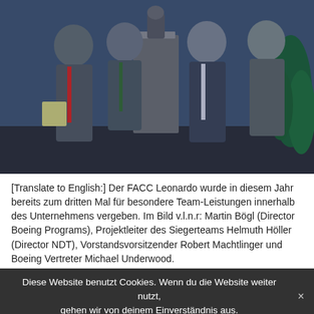[Figure (photo): Four men in business suits standing at an award ceremony. One man on the left holds a small award. They stand around a tall podium/trophy. Background shows blue and green lighting with a plant visible on the right.]
[Translate to English:] Der FACC Leonardo wurde in diesem Jahr bereits zum dritten Mal für besondere Team-Leistungen innerhalb des Unternehmens vergeben. Im Bild v.l.n.r: Martin Bögl (Director Boeing Programs), Projektleiter des Siegerteams Helmuth Höller (Director NDT), Vorstandsvorsitzender Robert Machtlinger und Boeing Vertreter Michael Underwood.
Diese Website benutzt Cookies. Wenn du die Website weiter nutzt, gehen wir von deinem Einverständnis aus.
Ried im Innkreis, November 8, 2016 – Upper Austrian aviation industry supplier FACC this year presented their